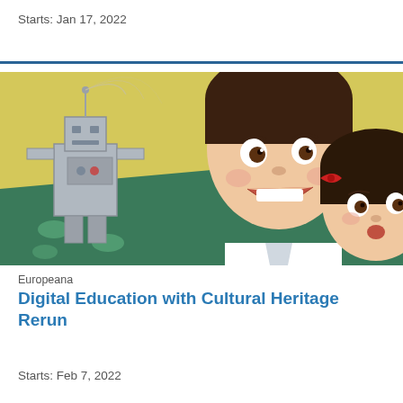Starts: Jan 17, 2022
[Figure (illustration): Vintage retro illustration of two excited children (a boy and a girl) looking at a robot with an antenna on a green table with yellow background]
Europeana
Digital Education with Cultural Heritage Rerun
Starts: Feb 7, 2022